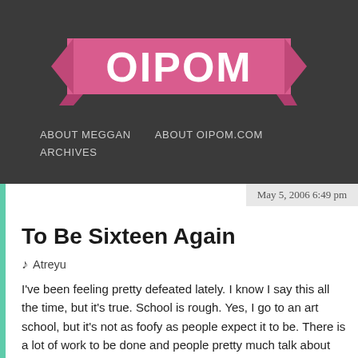[Figure (logo): OIPOM banner logo in pink ribbon style with white bold text]
ABOUT MEGGAN   ABOUT OIPOM.COM
ARCHIVES
May 5, 2006 6:49 pm
To Be Sixteen Again
♪ Atreyu
I've been feeling pretty defeated lately. I know I say this all the time, but it's true. School is rough. Yes, I go to an art school, but it's not as foofy as people expect it to be. There is a lot of work to be done and people pretty much talk about your portfolio as if it's your life rather than a graphical extension of who you are.
What brought this on was that twice this week I've had a